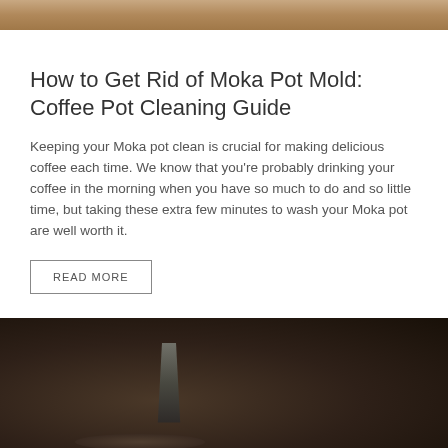[Figure (photo): Partial view of a Moka pot, cropped at top of page, warm brown tones]
How to Get Rid of Moka Pot Mold: Coffee Pot Cleaning Guide
Keeping your Moka pot clean is crucial for making delicious coffee each time. We know that you're probably drinking your coffee in the morning when you have so much to do and so little time, but taking these extra few minutes to wash your Moka pot are well worth it.
READ MORE
[Figure (photo): Dark moody photo of a Moka pot on a surface, low light, warm dark tones]